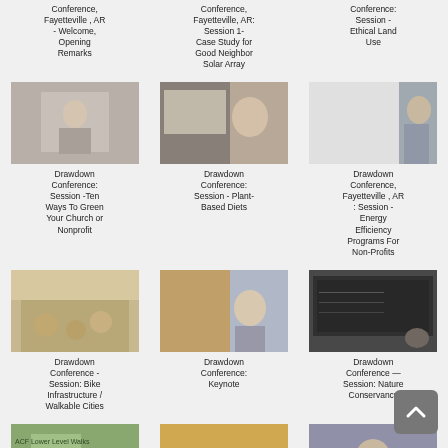[Figure (photo): Thumbnail of speaker at conference - Welcome Opening Remarks]
Conference, Fayetteville , AR - Welcome, Opening Remarks
[Figure (photo): Thumbnail of presenter at conference - Session 1 Case Study for Good Neighbor Solar Array]
Conference, Fayetteville, AR: Session 1- Case Study for Good Neighbor Solar Array
[Figure (photo): Thumbnail of conference speaker - Session Ethical Land Use]
Conference: Session - Ethical Land Use
[Figure (photo): Photo of woman speaking at podium]
Drawdown Conference: Session -Ten Ways To Green Your Church or Nonprofit
[Figure (photo): Photo of woman presenter with slide behind her]
Drawdown Conference: Session - Plant-Based Diets
[Figure (photo): Photo of man presenting with hand raised]
Drawdown Conference, Fayetteville , AR : Session - Energy Efficiency Programs For Non-Profits
[Figure (photo): Photo of group of people in discussion]
Drawdown Conference - Session: Bike Infrastructure / Walkable Cities
[Figure (photo): Photo of woman presenting with laptop screen]
Drawdown Conference: Keynote
[Figure (photo): Photo of person presenting with dark slide]
Drawdown Conference — Session: Nature Conservancy
[Figure (photo): Partial thumbnail - lower left]
[Figure (photo): Partial thumbnail - lower center]
[Figure (photo): Partial thumbnail - lower right]